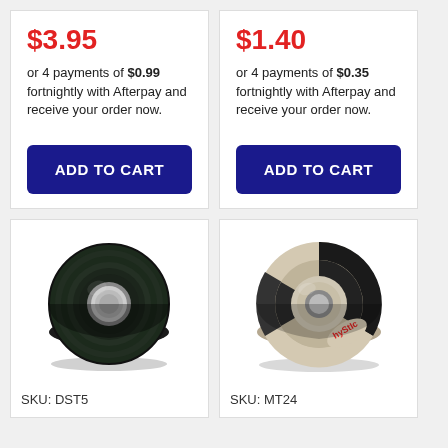$3.95
or 4 payments of $0.99 fortnightly with Afterpay and receive your order now.
ADD TO CART
$1.40
or 4 payments of $0.35 fortnightly with Afterpay and receive your order now.
ADD TO CART
[Figure (photo): Roll of dark green/black double-sided tape]
SKU: DST5
[Figure (photo): Roll of masking tape with HyStic branding, beige/cream colored with black stripes]
SKU: MT24